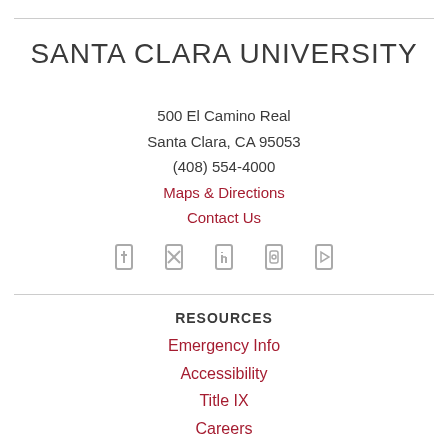SANTA CLARA UNIVERSITY
500 El Camino Real
Santa Clara, CA 95053
(408) 554-4000
Maps & Directions
Contact Us
[Figure (other): Five social media icons in a row]
RESOURCES
Emergency Info
Accessibility
Title IX
Careers
Login